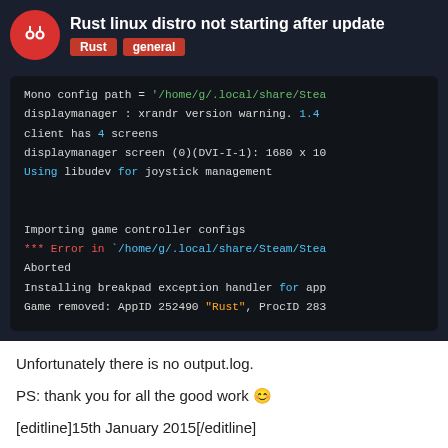Rust linux distro not starting after update
[Figure (screenshot): Terminal/console output showing Steam log lines including Mono config path, displaymanager xrandr warning, screen info, libudev joystick management, importing game controller configs, error in /home/g/.local/share/Steam/Steam..., Aborted, Installing breakpad exception handler for app, Game removed: AppID 252490 Rust ProcID 283]
Unfortunately there is no output.log.
PS: thank you for all the good work 😊
[editline]15th January 2015[/editline]
I am not sure but maybe this also helps
14 / 28